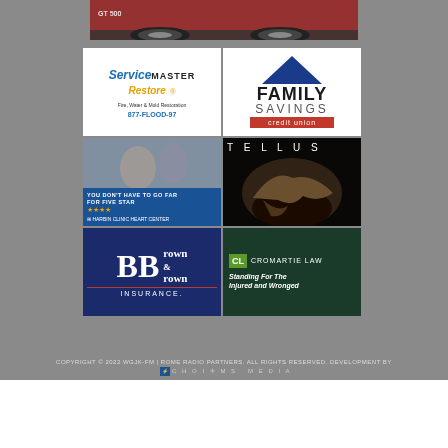[Figure (photo): Red car (GT 500) wheel and body detail - top strip]
[Figure (logo): ServiceMaster Restore ad - Fire, Water & Mold Restoration - 877-FLOOD-97]
[Figure (logo): Family Savings Credit Union ad with blue triangle logo]
[Figure (photo): Harbin Clinic Heart Center ad - You Don't Have To Go Far For Five Star - couple photo]
[Figure (photo): Tellus museum ad with T-Rex skull fossil]
[Figure (logo): Brown & Brown Insurance ad]
[Figure (logo): Cromartie Law ad - CL - Standing For The Injured and Wronged]
COPYRIGHT © 2022 WGJK-FM | ROME RADIO PARTNERS. ALL RIGHTS RESERVED. DEVELOPMENT BY CHOICES MEDIA